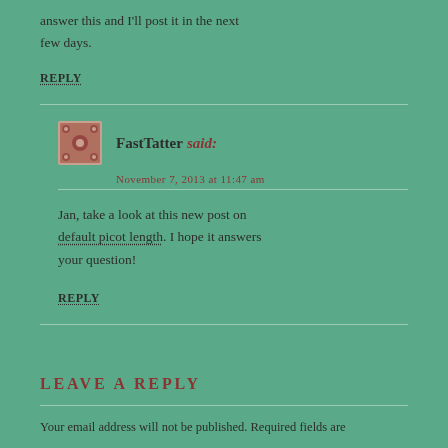answer this and I'll post it in the next few days.
REPLY
FastTatter said:
[date/time of comment]
Jan, take a look at this new post on default picot length. I hope it answers your question!
REPLY
LEAVE A REPLY
Your email address will not be published. Required fields are